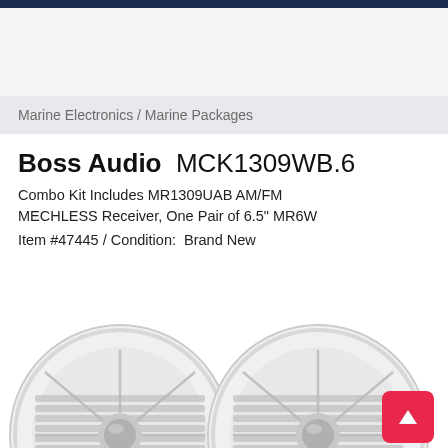Marine Electronics / Marine Packages
Boss Audio MCK1309WB.6
Combo Kit Includes MR1309UAB AM/FM MECHLESS Receiver, One Pair of 6.5" MR6W
Item #47445 / Condition:  Brand New
[Figure (photo): Two white circular marine speakers (Boss Audio MR6W) shown side by side, partially cropped at bottom of page. Speakers have white grilles with decorative spoke pattern and center dome tweeter.]